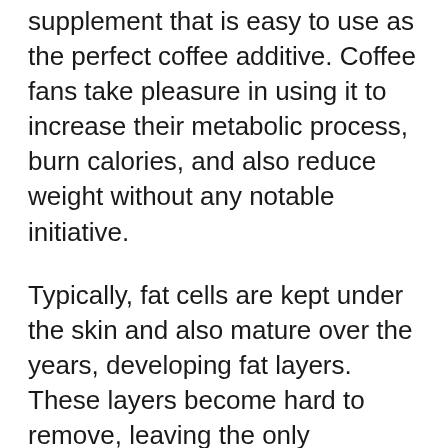supplement that is easy to use as the perfect coffee additive. Coffee fans take pleasure in using it to increase their metabolic process, burn calories, and also reduce weight without any notable initiative.
Typically, fat cells are kept under the skin and also mature over the years, developing fat layers. These layers become hard to remove, leaving the only alternative of surgical fat elimination. In straightforward words, when these fat cells continue to be extra, these layers strengthen under the skin bring about weight problems.
It is still possible to lose this fat with dietary and way of life adjustments, yet that is a very long process. Some people can liquify